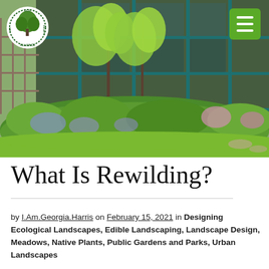[Figure (photo): Garden/landscape photo showing lush green native plantings with wildflowers in front of a building with teal/blue-green window frames. Trees with feathery foliage visible. An Ecolandscape Alliance logo circle is in the top-left and a green hamburger menu button is in the top-right.]
What Is Rewilding?
by I.Am.Georgia.Harris on February 15, 2021 in Designing Ecological Landscapes, Edible Landscaping, Landscape Design, Meadows, Native Plants, Public Gardens and Parks, Urban Landscapes